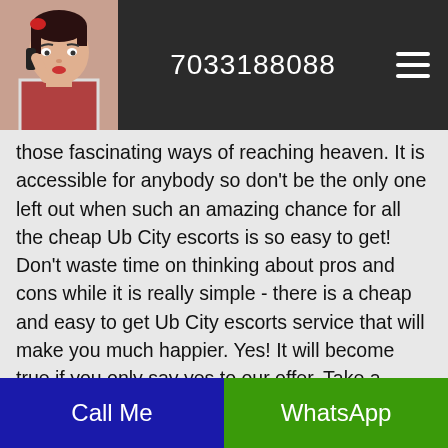7033188088
those fascinating ways of reaching heaven. It is accessible for anybody so don't be the only one left out when such an amazing chance for all the cheap Ub City escorts is so easy to get! Don't waste time on thinking about pros and cons while it is really simple - there is a cheap and easy to get Ub City escorts service that will make you much happier. Yes! It will become true if you only say yes to our offer. Take a moment to reflect how delightful time you may have with a escorts in Ub City by your side! Ub City escorts are So Friendly
Call Me | WhatsApp